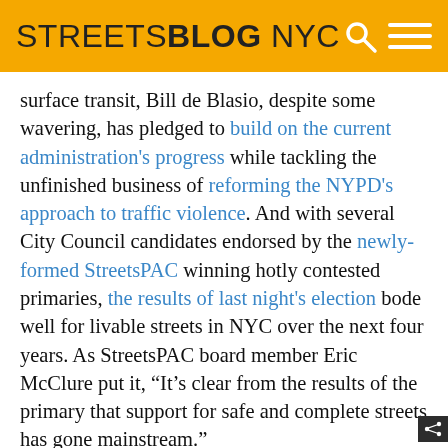STREETSBLOG NYC
surface transit, Bill de Blasio, despite some wavering, has pledged to build on the current administration's progress while tackling the unfinished business of reforming the NYPD's approach to traffic violence. And with several City Council candidates endorsed by the newly-formed StreetsPAC winning hotly contested primaries, the results of last night's election bode well for livable streets in NYC over the next four years. As StreetsPAC board member Eric McClure put it, “It’s clear from the results of the primary that support for safe and complete streets has gone mainstream.”
Barring an unlikely run-off victory by former comptroller Bill Thompson, de Blasio will move on to